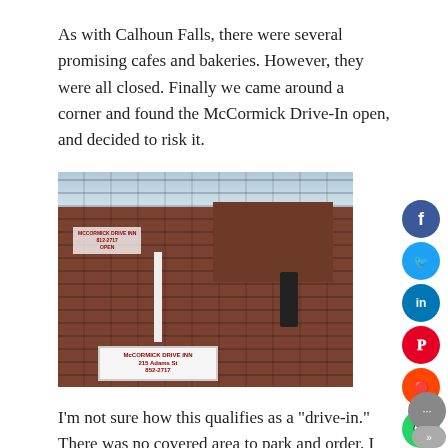As with Calhoun Falls, there were several promising cafes and bakeries. However, they were all closed. Finally we came around a corner and found the McCormick Drive-In open, and decided to risk it.
[Figure (photo): Exterior photo of McCormick Drive-In, a red brick building with a white sign post displaying 'McCormick Drive Inn' and a phone number, with a person visible near the entrance door.]
I'm not sure how this qualifies as a "drive-in." There was no covered area to park and order. I guess it's a drive-in only in the sense that you might be able to park in front of it, if you can find a space.